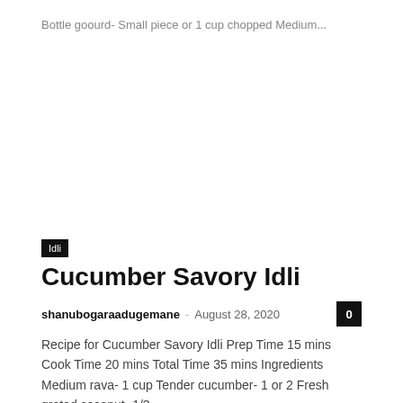Bottle goourd- Small piece or 1 cup chopped Medium...
Idli
Cucumber Savory Idli
shanubogaraadugemane · August 28, 2020
Recipe for Cucumber Savory Idli Prep Time 15 mins Cook Time 20 mins Total Time 35 mins Ingredients Medium rava- 1 cup Tender cucumber- 1 or 2 Fresh grated coconut- 1/3...